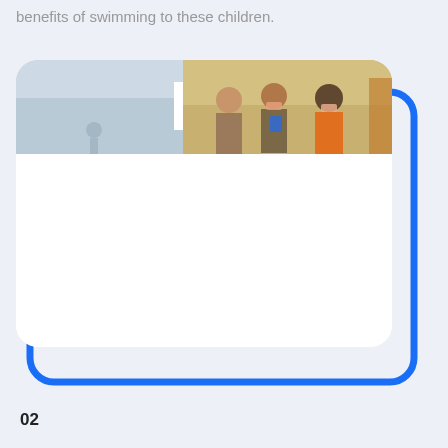benefits of swimming to these children.
[Figure (photo): A rounded white card with a blue border accent showing a photo strip at the top. The left portion of the photo shows an outdoor or pool scene with muted blue-grey tones and a child figure. The right portion shows people (children/adults wearing masks) in what appears to be a classroom or indoor setting with warm tones. A white rectangle overlaps the center of the photo strip. The card body is white and largely empty.]
02